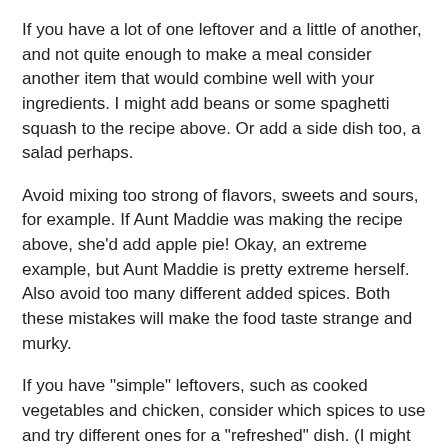If you have a lot of one leftover and a little of another, and not quite enough to make a meal consider another item that would combine well with your ingredients. I might add beans or some spaghetti squash to the recipe above. Or add a side dish too, a salad perhaps.
Avoid mixing too strong of flavors, sweets and sours, for example. If Aunt Maddie was making the recipe above, she'd add apple pie! Okay, an extreme example, but Aunt Maddie is pretty extreme herself. Also avoid too many different added spices. Both these mistakes will make the food taste strange and murky.
If you have "simple" leftovers, such as cooked vegetables and chicken, consider which spices to use and try different ones for a "refreshed" dish. (I might use coriander, thyme and pepper for the vegetables and chicken, for example.)
Avoid mixing tomatoes,vinegar or lemon juice with peas, green beans and/or broccoli as the green vegetables will turn brown and bitter.